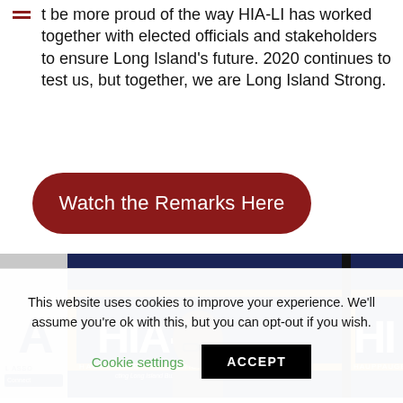t be more proud of the way HIA-LI has worked together with elected officials and stakeholders to ensure Long Island's future. 2020 continues to test us, but together, we are Long Island Strong.
Watch the Remarks Here
[Figure (photo): A man wearing glasses standing in front of HIA-LI (Hauppauge Industrial Association of Long Island) banner/backdrop, with the HIA-LI logo visible behind him.]
This website uses cookies to improve your experience. We'll assume you're ok with this, but you can opt-out if you wish.
Cookie settings
ACCEPT